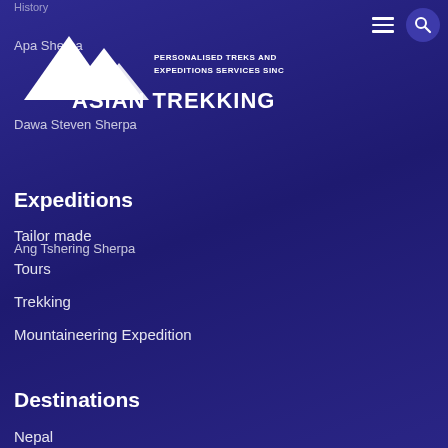History
Apa Sherpa
Dawa Steven Sherpa
Ang Tshering Sherpa
[Figure (logo): Asian Trekking logo with mountain peaks and text: PERSONALISED TREKS AND EXPEDITIONS SERVICES SINCE 1982, ASIAN TREKKING]
Expeditions
Tailor made
Tours
Trekking
Mountaineering Expedition
Destinations
Nepal